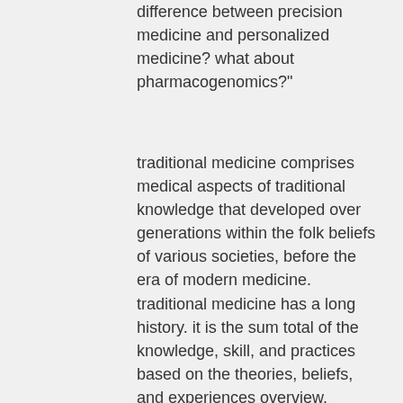difference between precision medicine and personalized medicine? what about pharmacogenomics?"
traditional medicine comprises medical aspects of traditional knowledge that developed over generations within the folk beliefs of various societies, before the era of modern medicine. traditional medicine has a long history. it is the sum total of the knowledge, skill, and practices based on the theories, beliefs, and experiences overview. traditional medicine refers to the knowledge, skills and practises based on the theories, beliefs and experiences indigenous to different cultures, traditional medicine refers to health practices, approaches, knowledge and beliefs incorporating plant, animal and mineral based medicines,, traditional medicine vs alternative medicine, traditional medicine vs alternative medicine, use of traditional medicine, african traditional medicine, characteristics of traditional medicine.